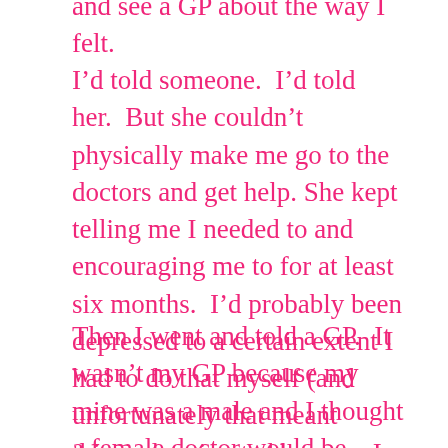and see a GP about the way I felt.
I’d told someone.  I’d told her.  But she couldn’t physically make me go to the doctors and get help. She kept telling me I needed to and encouraging me to for at least six months.  I’d probably been depressed to a certain extent I had to do that myself (and unfortunately that meant things deteriorated because I didn’t go until I got scared about what might happen unless I did).
Then I went and told a GP.  It wasn’t my GP because my mine was a male and I thought a female doctor would be easier. It was a first step but it wasn’t the solution facebook seems to be presenting it as.  Telling her was a lit...